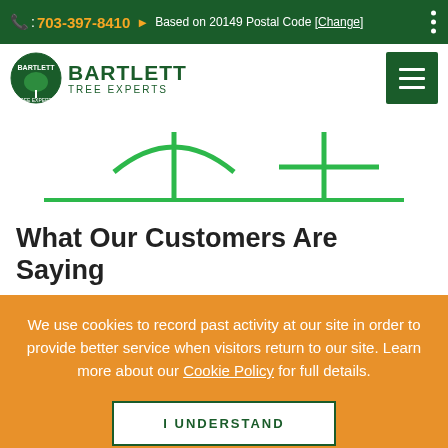: 703-397-8410  Based on 20149 Postal Code [Change]
[Figure (logo): Bartlett Tree Experts logo with circular emblem and hamburger menu button]
[Figure (illustration): Green tree outline illustration showing two stylized trees with a horizontal baseline]
What Our Customers Are Saying
We use cookies to record past activity at our site in order to provide better service when visitors return to our site. Learn more about our Cookie Policy for full details.
I UNDERSTAND